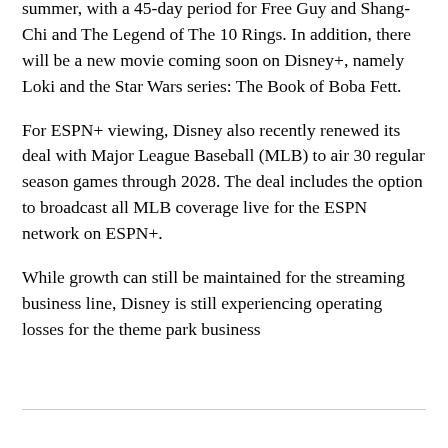summer, with a 45-day period for Free Guy and Shang-Chi and The Legend of The 10 Rings. In addition, there will be a new movie coming soon on Disney+, namely Loki and the Star Wars series: The Book of Boba Fett.
For ESPN+ viewing, Disney also recently renewed its deal with Major League Baseball (MLB) to air 30 regular season games through 2028. The deal includes the option to broadcast all MLB coverage live for the ESPN network on ESPN+.
While growth can still be maintained for the streaming business line, Disney is still experiencing operating losses for the theme park business